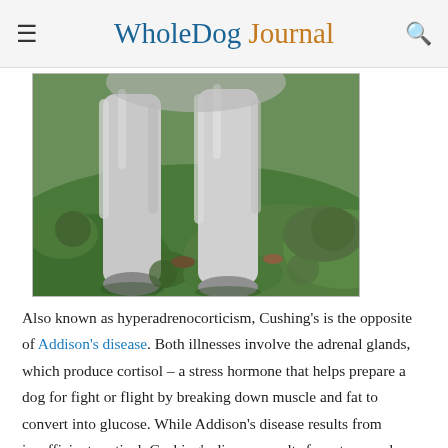WholeDog Journal
[Figure (photo): Close-up photograph of a dog's legs and lower body from behind, standing on grass and ground cover. The dog has light gray/white fur on its legs. The background shows green leafy ground cover and some brown debris.]
Also known as hyperadrenocorticism, Cushing's is the opposite of Addison's disease. Both illnesses involve the adrenal glands, which produce cortisol – a stress hormone that helps prepare a dog for fight or flight by breaking down muscle and fat to convert into glucose. While Addison's disease results from insufficient cortisol, Cushing's disease results from too much – and prolonged exposure to cortisol can have negative effects on the entire body. Cushing's puts dogs at